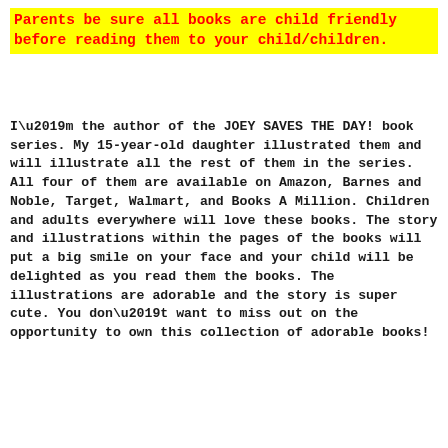Parents be sure all books are child friendly before reading them to your child/children.
I’m the author of the JOEY SAVES THE DAY! book series. My 15-year-old daughter illustrated them and will illustrate all the rest of them in the series. All four of them are available on Amazon, Barnes and Noble, Target, Walmart, and Books A Million. Children and adults everywhere will love these books. The story and illustrations within the pages of the books will put a big smile on your face and your child will be delighted as you read them the books. The illustrations are adorable and the story is super cute. You don’t want to miss out on the opportunity to own this collection of adorable books!